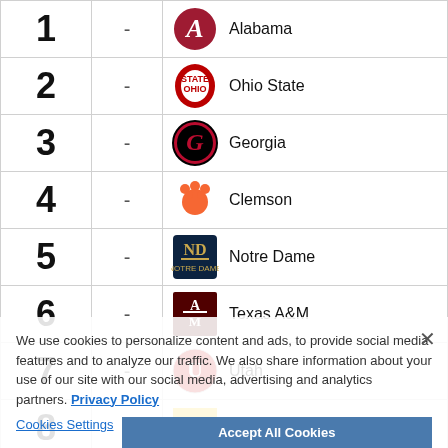| Rank | Change | Team |
| --- | --- | --- |
| 1 | - | Alabama |
| 2 | - | Ohio State |
| 3 | - | Georgia |
| 4 | - | Clemson |
| 5 | - | Notre Dame |
| 6 | - | Texas A&M |
| 7 | - | Utah |
| 8 | - | Michigan |
We use cookies to personalize content and ads, to provide social media features and to analyze our traffic. We also share information about your use of our site with our social media, advertising and analytics partners. Privacy Policy